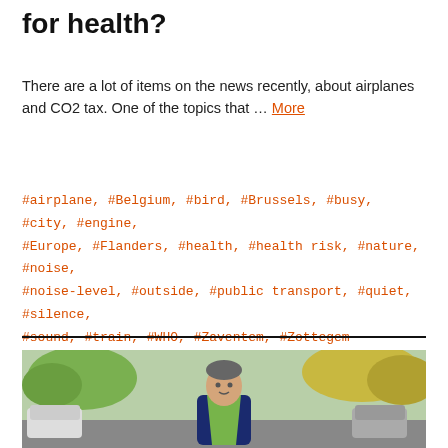for health?
There are a lot of items on the news recently, about airplanes and CO2 tax. One of the topics that … More
#airplane, #Belgium, #bird, #Brussels, #busy, #city, #engine, #Europe, #Flanders, #health, #health risk, #nature, #noise, #noise-level, #outside, #public transport, #quiet, #silence, #sound, #train, #WHO, #Zaventem, #Zottegem
[Figure (photo): A man wearing a blue jacket and green vest stands outdoors in a parking lot with trees in the background]